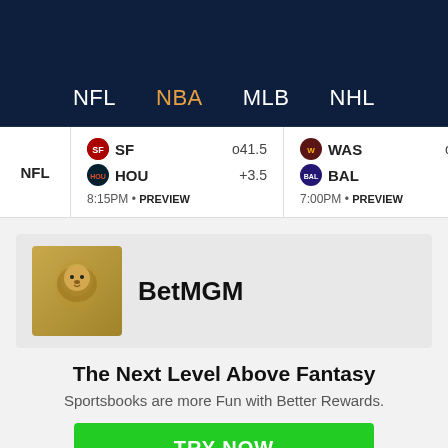NFL  NBA  MLB  NHL
[Figure (screenshot): Sports scores bar showing NFL games: SF vs HOU o41.5/+3.5 8:15PM PREVIEW, WAS vs BAL o39.5/-6.5 7:00PM PREVIEW, CHI vs CLE 7:00PM]
[Figure (logo): BetMGM advertisement with lion logo]
The Next Level Above Fantasy
Sportsbooks are more Fun with Better Rewards.
TRY NOW
NBA  Start/Sit  Torrey Craig or...